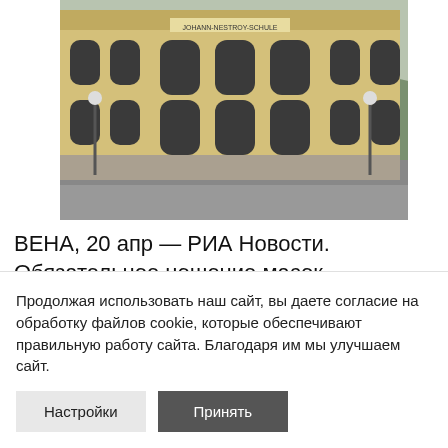[Figure (photo): Photograph of the Johann-Nestroy-Schule building facade, a yellow multi-story school building with arched windows, street lamps in front, and mountains visible in the background.]
ВЕНА, 20 апр — РИА Новости. Обязательное ношение масок отменяется в школах Австрии с 25 апреля, заявил в среду министр образования страны.
Продолжая использовать наш сайт, вы даете согласие на обработку файлов cookie, которые обеспечивают правильную работу сайта. Благодаря им мы улучшаем сайт.